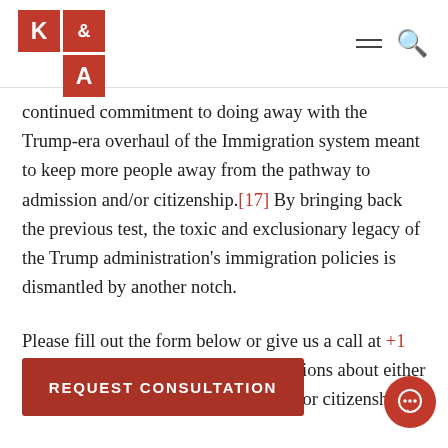K & A [logo]
continued commitment to doing away with the Trump-era overhaul of the Immigration system meant to keep more people away from the pathway to admission and/or citizenship.[17] By bringing back the previous test, the toxic and exclusionary legacy of the Trump administration's immigration policies is dismantled by another notch.
Please fill out the form below or give us a call at +1 (312)-233-1000 if you have any questions about either the 2008 or 2020 naturalization tests for citizenship.
REQUEST CONSULTATION